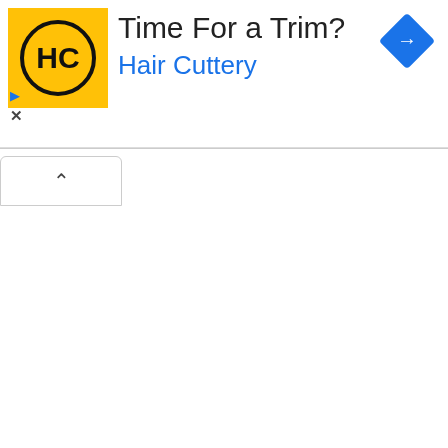[Figure (logo): Hair Cuttery advertisement banner. Yellow square logo with HC monogram in black circle, text 'Time For a Trim?' in dark gray, 'Hair Cuttery' in blue below. Blue diamond navigation icon top right. Small blue play triangle and X close button on left. Collapse chevron bar below.]